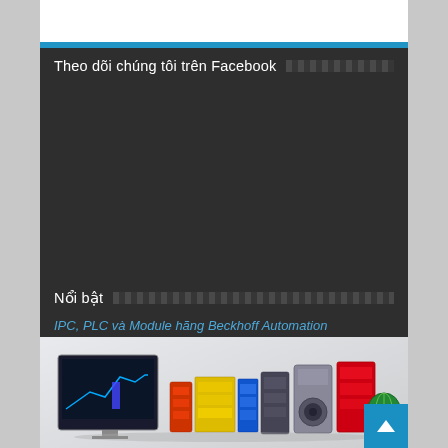Theo dõi chúng tôi trên Facebook
Nổi bật
IPC, PLC và Module hãng Beckhoff Automation
[Figure (photo): Product lineup of Beckhoff Automation industrial PCs, PLCs, modules, servo drives and other automation equipment displayed on a light grey background]